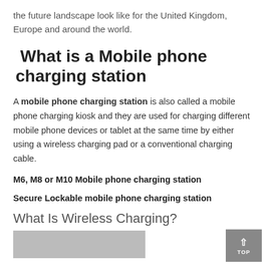the future landscape look like for the United Kingdom, Europe and around the world.
What is a Mobile phone charging station
A mobile phone charging station is also called a mobile phone charging kiosk and they are used for charging different mobile phone devices or tablet at the same time by either using a wireless charging pad or a conventional charging cable.
M6, M8 or M10 Mobile phone charging station
Secure Lockable mobile phone charging station
What Is Wireless Charging?
[Figure (photo): Partial image of a mobile phone charging station device at the bottom of the page]